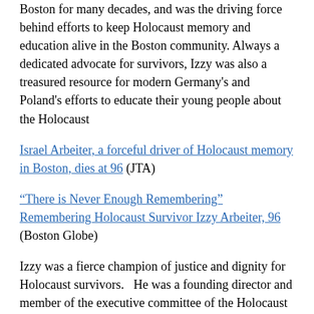Boston for many decades, and was the driving force behind efforts to keep Holocaust memory and education alive in the Boston community. Always a dedicated advocate for survivors, Izzy was also a treasured resource for modern Germany's and Poland's efforts to educate their young people about the Holocaust
Israel Arbeiter, a forceful driver of Holocaust memory in Boston, dies at 96 (JTA)
“There is Never Enough Remembering” Remembering Holocaust Survivor Izzy Arbeiter, 96 (Boston Globe)
Izzy was a fierce champion of justice and dignity for Holocaust survivors.   He was a founding director and member of the executive committee of the Holocaust Survivors Foundation USA, joining with survivor leaders from throughout the U.S. in the year 2000 to advocate for survivors’ rights, interests, and needs.